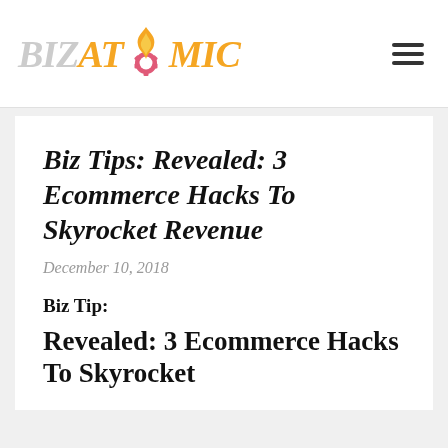BizAtomic
Biz Tips: Revealed: 3 Ecommerce Hacks To Skyrocket Revenue
December 10, 2018
Biz Tip:
Revealed: 3 Ecommerce Hacks To Skyrocket